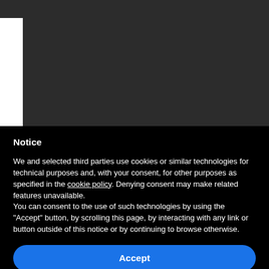[Figure (screenshot): Dark gray background area at top of page, with a white vertical strip on the left side]
Notice
We and selected third parties use cookies or similar technologies for technical purposes and, with your consent, for other purposes as specified in the cookie policy. Denying consent may make related features unavailable.
You can consent to the use of such technologies by using the "Accept" button, by scrolling this page, by interacting with any link or button outside of this notice or by continuing to browse otherwise.
Accept
Learn more and customize